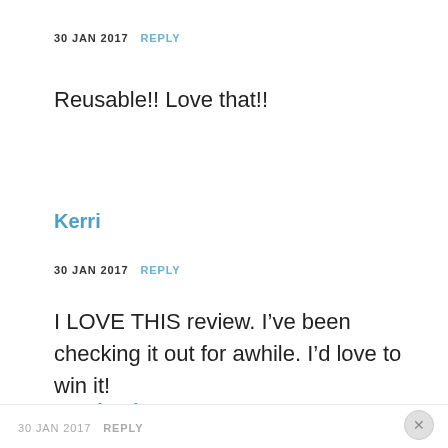30 JAN 2017   REPLY
Reusable!! Love that!!
Kerri
30 JAN 2017   REPLY
I LOVE THIS review. I’ve been checking it out for awhile. I’d love to win it!
Stephanie P.
30 JAN 2017   REPLY